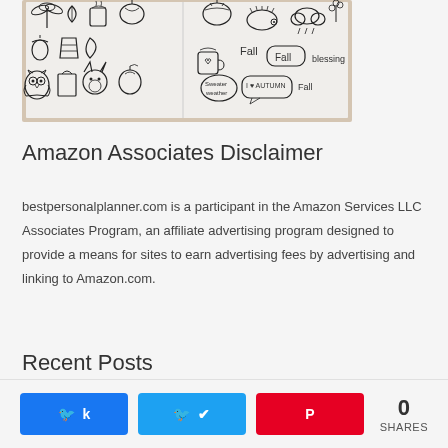[Figure (photo): Hand-drawn autumn/fall doodles on white paper, including an owl, fox, apple, hedgehog, pumpkins, leaves, acorn, mushroom, and text bubbles reading 'Fall', 'I love AUTUMN', 'Sweater weather', 'Fall blessing']
Amazon Associates Disclaimer
bestpersonalplanner.com is a participant in the Amazon Services LLC Associates Program, an affiliate advertising program designed to provide a means for sites to earn advertising fees by advertising and linking to Amazon.com.
Recent Posts